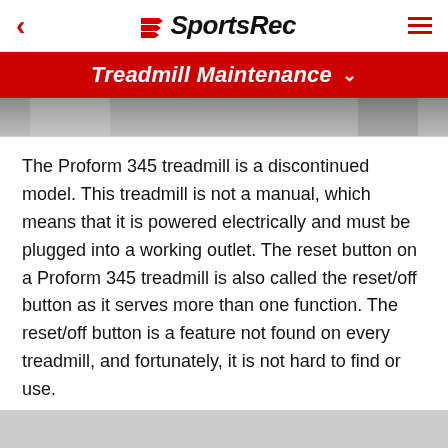SportsRec
Treadmill Maintenance
[Figure (photo): Partial view of a person using or working on a treadmill, cropped at top]
The Proform 345 treadmill is a discontinued model. This treadmill is not a manual, which means that it is powered electrically and must be plugged into a working outlet. The reset button on a Proform 345 treadmill is also called the reset/off button as it serves more than one function. The reset/off button is a feature not found on every treadmill, and fortunately, it is not hard to find or use.